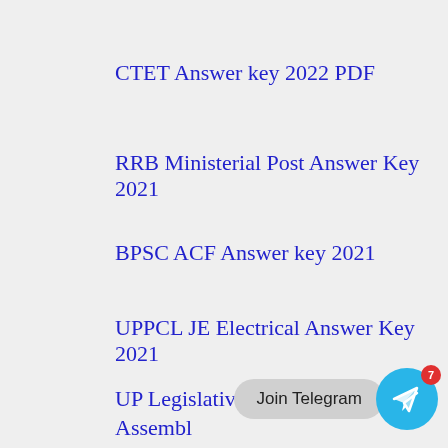CTET Answer key 2022 PDF
RRB Ministerial Post Answer Key 2021
BPSC ACF Answer key 2021
UPPCL JE Electrical Answer Key 2021
UP Legislative Assembly Answer key 2021